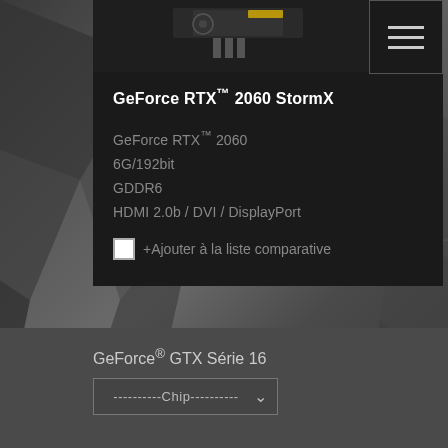GeForce RTX™ 2060 StormX
GeForce RTX™ 2060
6G/192bit
GDDR6
HDMI 2.0b / DVI / DisplayPort
+Ajouter à la liste comparative
GeForce® GTX Série 16
----------Chip----------